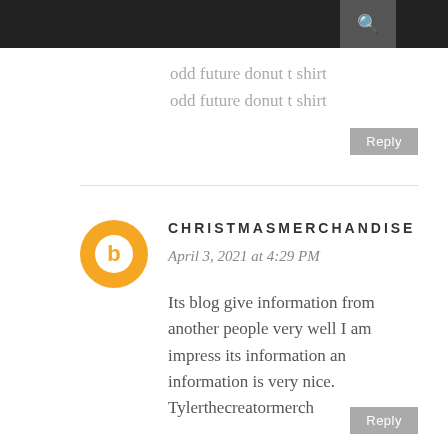odd future donut t shirt
odd future donut t shirt
Reply
CHRISTMASMERCHANDISE
April 3, 2021 at 4:29 PM
Its blog give information from another people very well I am impress its information an information is very nice. Tylerthecreatormerch
Reply